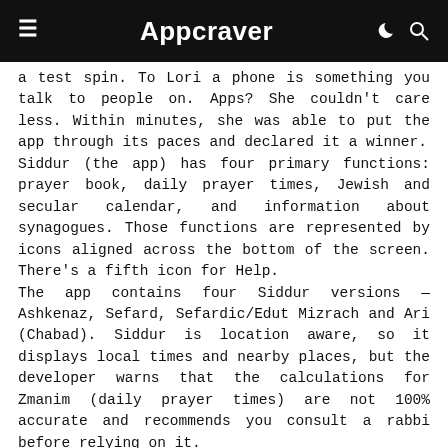Appcraver
a test spin. To Lori a phone is something you talk to people on. Apps? She couldn't care less. Within minutes, she was able to put the app through its paces and declared it a winner.
Siddur (the app) has four primary functions: prayer book, daily prayer times, Jewish and secular calendar, and information about synagogues. Those functions are represented by icons aligned across the bottom of the screen. There's a fifth icon for Help.
The app contains four Siddur versions — Ashkenaz, Sefard, Sefardic/Edut Mizrach and Ari (Chabad). Siddur is location aware, so it displays local times and nearby places, but the developer warns that the calculations for Zmanim (daily prayer times) are not 100% accurate and recommends you consult a rabbi before relying on it.
When we tapped on the Minyanim icon, Siddur pulled